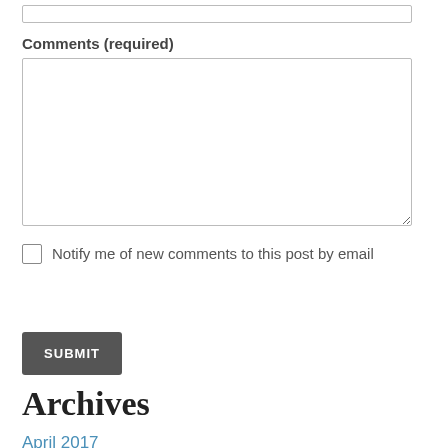Comments (required)
Notify me of new comments to this post by email
SUBMIT
Archives
April 2017
March 2017
February 2017
November 2016
October 2016
September 2016